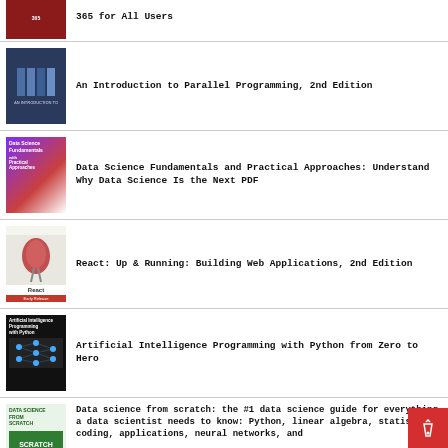[Figure (photo): Partial book cover visible at top, cut off]
365 for All Users
[Figure (photo): Book cover: An Introduction to Parallel Programming, 2nd Edition — dark blue cover with grid pattern]
An Introduction to Parallel Programming, 2nd Edition
[Figure (photo): Book cover: Data Science Fundamentals and Practical Approaches — purple/red gradient cover]
Data Science Fundamentals and Practical Approaches: Understand Why Data Science Is the Next PDF
[Figure (photo): Book cover: React: Up & Running: Building Web Applications, 2nd Edition — bird/flamingo on white cover]
React: Up & Running: Building Web Applications, 2nd Edition
[Figure (photo): Book cover: Artificial Intelligence Programming with Python from Zero to Hero — dark/black cover with neural network image]
Artificial Intelligence Programming with Python from Zero to Hero
[Figure (photo): Book cover: Data Science from Scratch — green/white cover]
Data science from scratch: the #1 data science guide for everything a data scientist needs to know: Python, linear algebra, statistics, coding, applications, neural networks, and